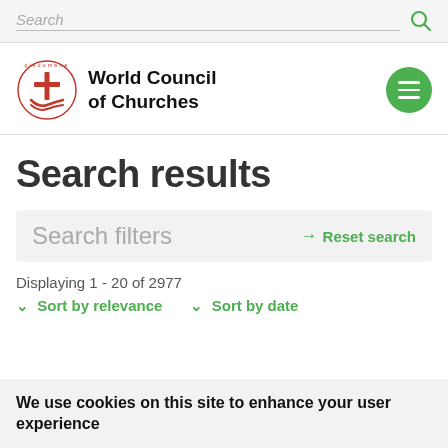Search
[Figure (logo): World Council of Churches logo with oikoumene circular text and cross/boat symbol in red]
World Council of Churches
Search results
Search filters  → Reset search
Displaying 1 - 20 of 2977
↓ Sort by relevance   ↓ Sort by date
We use cookies on this site to enhance your user experience